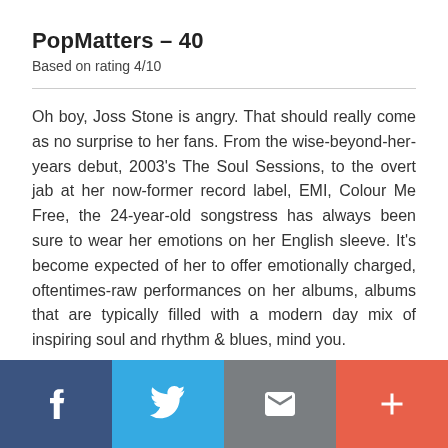PopMatters – 40
Based on rating 4/10
Oh boy, Joss Stone is angry. That should really come as no surprise to her fans. From the wise-beyond-her-years debut, 2003's The Soul Sessions, to the overt jab at her now-former record label, EMI, Colour Me Free, the 24-year-old songstress has always been sure to wear her emotions on her English sleeve. It's become expected of her to offer emotionally charged, oftentimes-raw performances on her albums, albums that are typically filled with a modern day mix of inspiring soul and rhythm & blues, mind you.
[Figure (infographic): Social sharing button bar at bottom: Facebook (dark blue), Twitter (light blue), Email (gray), Plus/more (orange-red)]